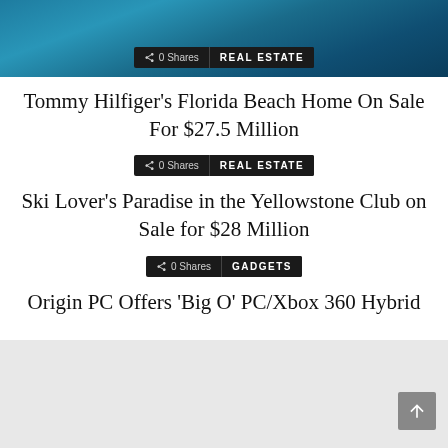[Figure (photo): Decorative blue textured image at top with 0 Shares badge and REAL ESTATE category badge]
Tommy Hilfiger’s Florida Beach Home On Sale For $27.5 Million
[Figure (infographic): 0 Shares badge and REAL ESTATE category badge]
Ski Lover’s Paradise in the Yellowstone Club on Sale for $28 Million
[Figure (infographic): 0 Shares badge and GADGETS category badge]
Origin PC Offers ‘Big O’ PC/Xbox 360 Hybrid
[Figure (photo): Light gray placeholder image at the bottom of the page with a scroll-to-top button in the bottom right corner]